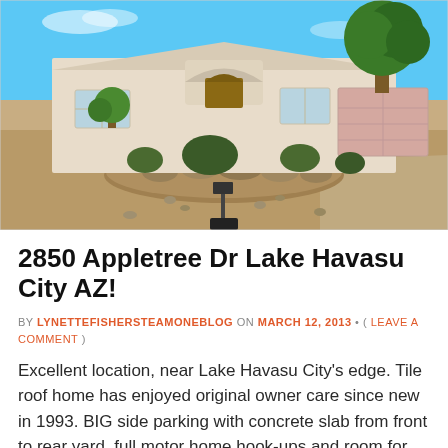[Figure (photo): Exterior front view of a single-story stucco home with tile roof, large round tree on right, desert landscaping with rocks and shrubs, gravel front yard, pink garage door, blue sky background, mailbox in foreground. Lake Havasu City AZ property at 2850 Appletree Dr.]
2850 Appletree Dr Lake Havasu City AZ!
BY LYNETTEFISHERSTEAMONEBLOG ON MARCH 12, 2013 • ( LEAVE A COMMENT )
Excellent location, near Lake Havasu City's edge. Tile roof home has enjoyed original owner care since new in 1993. BIG side parking with concrete slab from front to rear yard, full motor home hook-ups and room for boats and toys. Private stucco walled yard, fruit trees, patio under [...]